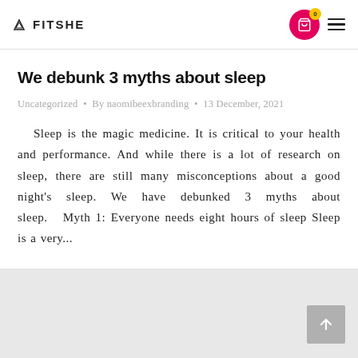FITSHE
We debunk 3 myths about sleep
Uncategorized • By naomibeexbranding • 13 December, 2021
Sleep is the magic medicine. It is critical to your health and performance. And while there is a lot of research on sleep, there are still many misconceptions about a good night's sleep. We have debunked 3 myths about sleep.   Myth 1: Everyone needs eight hours of sleep Sleep is a very...